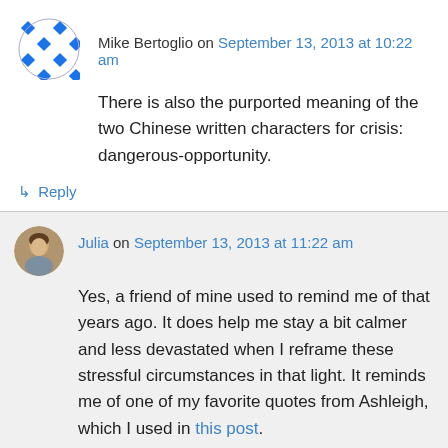Mike Bertoglio on September 13, 2013 at 10:22 am
There is also the purported meaning of the two Chinese written characters for crisis: dangerous-opportunity.
↳ Reply
Julia on September 13, 2013 at 11:22 am
Yes, a friend of mine used to remind me of that years ago. It does help me stay a bit calmer and less devastated when I reframe these stressful circumstances in that light. It reminds me of one of my favorite quotes from Ashleigh, which I used in this post.